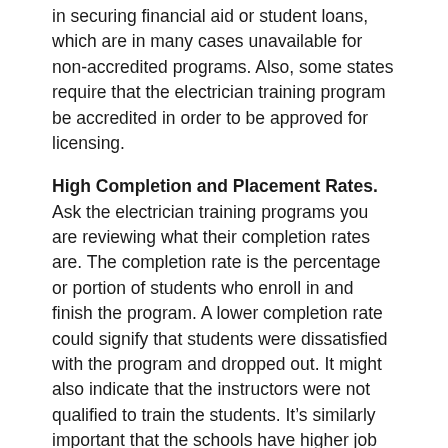in securing financial aid or student loans, which are in many cases unavailable for non-accredited programs. Also, some states require that the electrician training program be accredited in order to be approved for licensing.
High Completion and Placement Rates. Ask the electrician training programs you are reviewing what their completion rates are. The completion rate is the percentage or portion of students who enroll in and finish the program. A lower completion rate could signify that students were dissatisfied with the program and dropped out. It might also indicate that the instructors were not qualified to train the students. It's similarly important that the schools have higher job placement rates. Older and/or more reputable schools may have a more extensive directory of graduates, which can mean more contacts for the school to employ for their